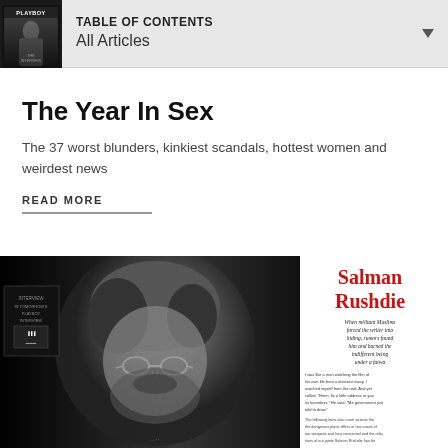TABLE OF CONTENTS
All Articles
The Year In Sex
The 37 worst blunders, kinkiest scandals, hottest women and weirdest news
READ MORE
[Figure (photo): Magazine spread showing Salman Rushdie article with black and white portrait photo of the author wearing round glasses, with red text overlay reading 'Salman Rushdie' and article text on the right side]